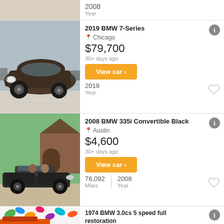2008
Year
[Figure (photo): Dark brown/grey 2019 BMW 7-Series parked in a lot]
2019 BMW 7-Series
Chicago
$79,700
30+ days ago
View car
2019
Year
[Figure (photo): Black 2008 BMW 335i Convertible parked on a driveway]
2008 BMW 335i Convertible Black
Austin
$4,600
30+ days ago
View car
76,092 Miles | 2008 Year
[Figure (photo): Orange 1974 BMW 3.0cs partial view with colorful mural background]
1974 BMW 3.0cs 5 speed full restoration
Nashville